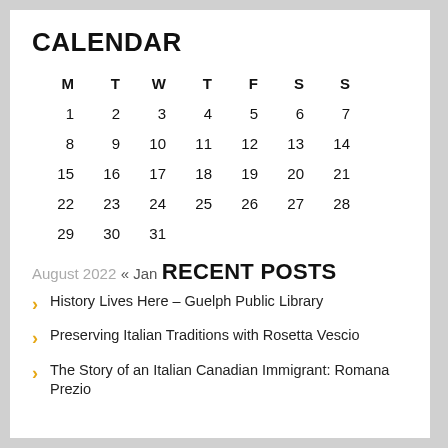CALENDAR
| M | T | W | T | F | S | S |
| --- | --- | --- | --- | --- | --- | --- |
| 1 | 2 | 3 | 4 | 5 | 6 | 7 |
| 8 | 9 | 10 | 11 | 12 | 13 | 14 |
| 15 | 16 | 17 | 18 | 19 | 20 | 21 |
| 22 | 23 | 24 | 25 | 26 | 27 | 28 |
| 29 | 30 | 31 |  |  |  |  |
August 2022
« Jan
RECENT POSTS
History Lives Here – Guelph Public Library
Preserving Italian Traditions with Rosetta Vescio
The Story of an Italian Canadian Immigrant: Romana Prezio